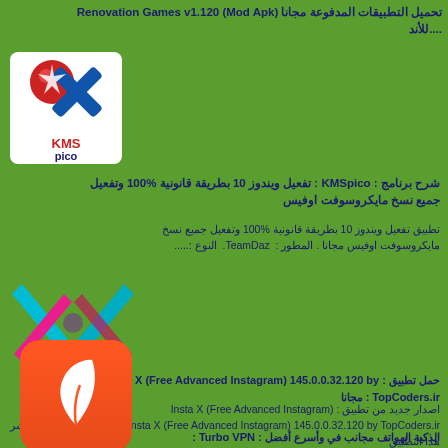تحميل التطبيقات المدفوعة مجانا Renovation Games v1.120 (Mod Apk) للأند....
[Figure (logo): KMSpico logo - red ball with white star, blue X shape, KMSpico text on white background]
شرح برنامج : KMSpico : تفعيل ويندوز 10 بطريقة قانونية 100% وتفعيل جميع نسخ مايكروسوفت اوفيس
تطبيق تفعيل ويندوز 10 بطريقة قانونية 100% وتفعيل جميع نسخ مايكروسوفت اوفيس مجانا . المطور : TeamDaz. النوع :....
[Figure (logo): Insta X logo - teal/blue X shape with pink/magenta accents on green background]
حمل تطبيق : Insta X (Free Advanced Instagram) 145.0.0.32.120 by : TopCoders.ir مجانا
اصدار جديد من تطبيق : Insta X (Free Advanced Instagram) 145.0.0.32.120 by TopCoders.ir لـ Android - تنزيل. تم نشر هذا التطبيق على سوق Goo...
[Figure (logo): Turbo VPN logo - white leaf/feather icon on orange/red gradient rounded square background]
Turbo VPN : أفضل وأسرع في مجانب الهواتف الذكية